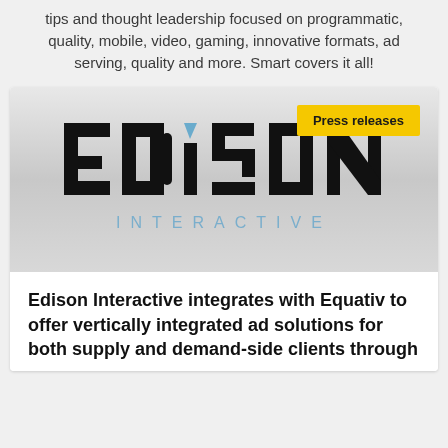tips and thought leadership focused on programmatic, quality, mobile, video, gaming, innovative formats, ad serving, quality and more. Smart covers it all!
[Figure (logo): Edison Interactive logo with gradient background and 'Press releases' yellow badge in top right corner]
Edison Interactive integrates with Equativ to offer vertically integrated ad solutions for both supply and demand-side clients through